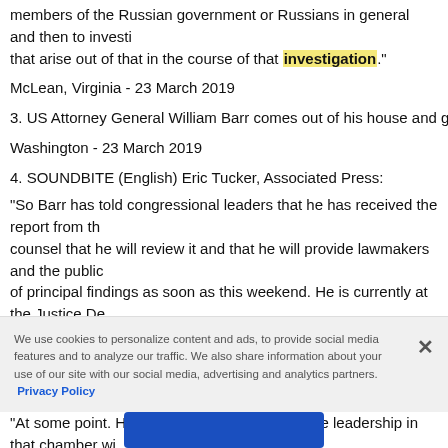members of the Russian government or Russians in general and then to investigate things that arise out of that in the course of that investigation."
McLean, Virginia - 23 March 2019
3. US Attorney General William Barr comes out of his house and gets in a vehicle
Washington - 23 March 2019
4. SOUNDBITE (English) Eric Tucker, Associated Press:
"So Barr has told congressional leaders that he has received the report from the special counsel that he will review it and that he will provide lawmakers and the public a summary of principal findings as soon as this weekend. He is currently at the Justice Department reviewing the report he received from Mueller."
5. Barr's motorcade arrives at DOJ
6. SOUNDBITE (English) Eric Tucker, Associated Press:
"At some point. House Democrats who have the leadership in that chamber will decide do if anything with the findings. We've heard indications from House Speaker N...
We use cookies to personalize content and ads, to provide social media features and to analyze our traffic. We also share information about your use of our site with our social media, advertising and analytics partners. Privacy Policy